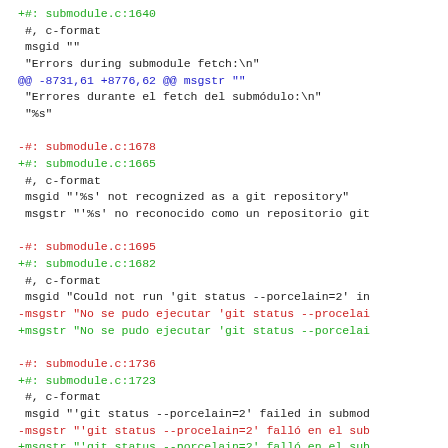+#: submodule.c:1640
 #, c-format
 msgid ""
 "Errors during submodule fetch:\n"
@@ -8731,61 +8776,62 @@ msgstr ""
 "Errores durante el fetch del submódulo:\n"
 "%s"

 -#: submodule.c:1678
 +#: submodule.c:1665
  #, c-format
  msgid "'%s' not recognized as a git repository"
  msgstr "'%s' no reconocido como un repositorio git

 -#: submodule.c:1695
 +#: submodule.c:1682
  #, c-format
  msgid "Could not run 'git status --porcelain=2' in
 -msgstr "No se pudo ejecutar 'git status --procelai
 +msgstr "No se pudo ejecutar 'git status --porcelai

 -#: submodule.c:1736
 +#: submodule.c:1723
  #, c-format
  msgid "'git status --porcelain=2' failed in submod
 -msgstr "'git status --procelain=2' falló en el sub
 +msgstr "'git status --porcelain=2' falló en el sub

 -#: submodule.c:1811
 +#: submodule.c:1798